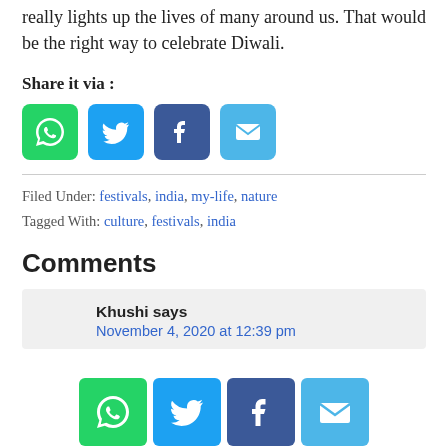really lights up the lives of many around us. That would be the right way to celebrate Diwali.
Share it via :
[Figure (other): Social share icons: WhatsApp (green), Twitter (blue), Facebook (dark blue), Email (light blue)]
Filed Under: festivals, india, my-life, nature
Tagged With: culture, festivals, india
Comments
Khushi says
November 4, 2020 at 12:39 pm
[Figure (other): Bottom social share bar: WhatsApp, Twitter, Facebook, Email icons]